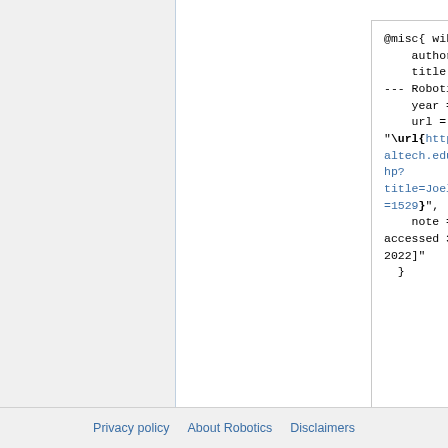@misc{ wiki:xxx,
    author = "Robotics",
    title = "JoelBurdick
--- Robotics{,} ",
    year = "2022",
    url =
"\url{http://robotics.caltech.edu/wiki/index.php?title=JoelBurdick&oldid=1529}",
    note = "[Online; accessed 31-August-2022]"
  }
Privacy policy   About Robotics   Disclaimers